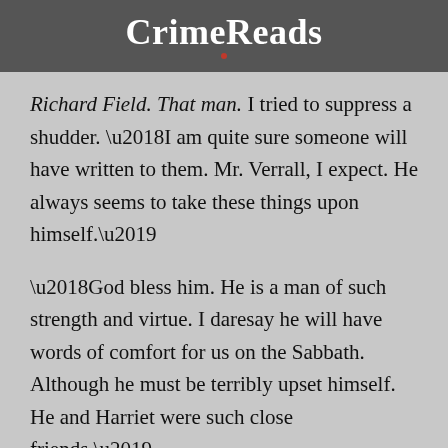CrimeReads
Richard Field. That man. I tried to suppress a shudder. ‘I am quite sure someone will have written to them. Mr. Verrall, I expect. He always seems to take these things upon himself.’
‘God bless him. He is a man of such strength and virtue. I daresay he will have words of comfort for us on the Sabbath. Although he must be terribly upset himself. He and Harriet were such close friends.’
Clara had no concept of the truth of